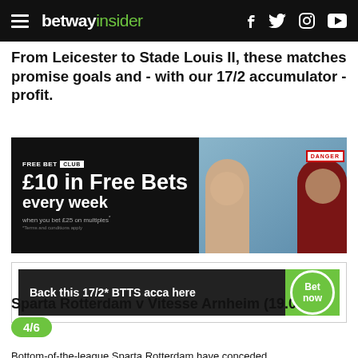betway insider
From Leicester to Stade Louis II, these matches promise goals and - with our 17/2 accumulator - profit.
[Figure (infographic): FREE BET CLUB advertisement. £10 in Free Bets every week when you bet £25 on multiples*. *Terms and conditions apply. Shows two men in suits.]
[Figure (infographic): Back this 17/2* BTTS acca here — Bet now button in green circle]
Sparta Rotterdam v Vitesse Arnheim (19.00) – 4/6
Bottom-of-the-league Sparta Rotterdam have conceded